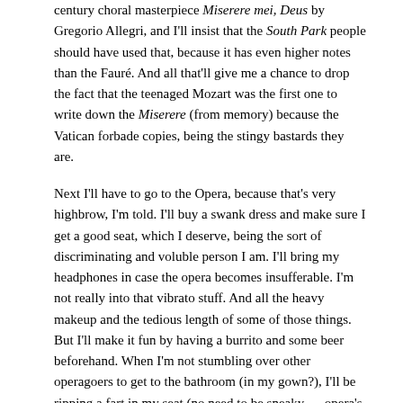century choral masterpiece Miserere mei, Deus by Gregorio Allegri, and I'll insist that the South Park people should have used that, because it has even higher notes than the Fauré. And all that'll give me a chance to drop the fact that the teenaged Mozart was the first one to write down the Miserere (from memory) because the Vatican forbade copies, being the stingy bastards they are.
Next I'll have to go to the Opera, because that's very highbrow, I'm told. I'll buy a swank dress and make sure I get a good seat, which I deserve, being the sort of discriminating and voluble person I am. I'll bring my headphones in case the opera becomes insufferable. I'm not really into that vibrato stuff. And all the heavy makeup and the tedious length of some of those things. But I'll make it fun by having a burrito and some beer beforehand. When I'm not stumbling over other operagoers to get to the bathroom (in my gown?), I'll be ripping a fart in my seat (no need to be sneaky — opera's loud, I hear) and observing those around me for reactions. That's empirical research, by the way.